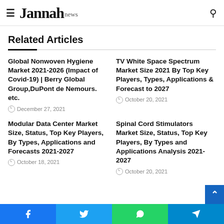Jannah news
Related Articles
Global Nonwoven Hygiene Market 2021-2026 (Impact of Covid-19) | Berry Global Group,DuPont de Nemours. etc.
December 27, 2021
TV White Space Spectrum Market Size 2021 By Top Key Players, Types, Applications & Forecast to 2027
October 20, 2021
Modular Data Center Market Size, Status, Top Key Players, By Types, Applications and Forecasts 2021-2027
October 18, 2021
Spinal Cord Stimulators Market Size, Status, Top Key Players, By Types and Applications Analysis 2021-2027
October 20, 2021
Facebook | Twitter | WhatsApp | Telegram